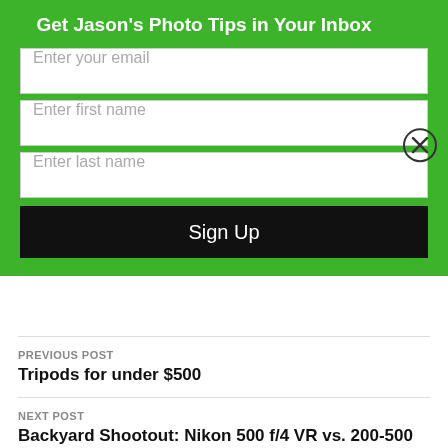Get Jason's Photo Tips in Your Inbox
Enter your email
Enter first name
Enter last name
Sign Up
PREVIOUS POST
Tripods for under $500
NEXT POST
Backyard Shootout: Nikon 500 f/4 VR vs. 200-500 f/5.6 VR